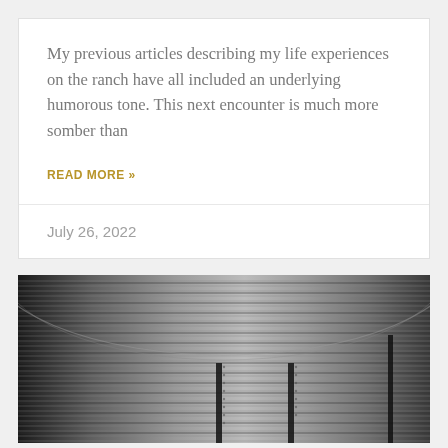My previous articles describing my life experiences on the ranch have all included an underlying humorous tone. This next encounter is much more somber than
READ MORE »
July 26, 2022
[Figure (photo): Black and white photograph of a corrugated metal grain silo or storage bin, showing horizontal ridged bands curving around the structure, with vertical ladder-like attachments visible on the lower portion.]